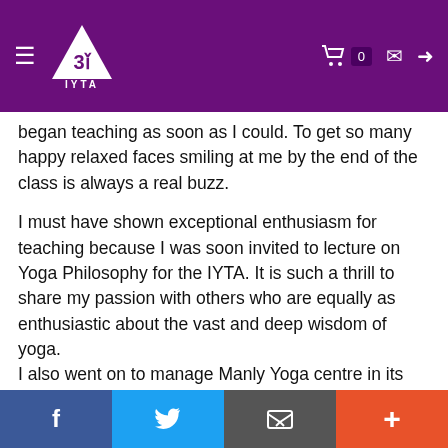IYTA logo header with navigation icons
began teaching as soon as I could. To get so many happy relaxed faces smiling at me by the end of the class is always a real buzz.
I must have shown exceptional enthusiasm for teaching because I was soon invited to lecture on Yoga Philosophy for the IYTA. It is such a thrill to share my passion with others who are equally as enthusiastic about the vast and deep wisdom of yoga.
I also went on to manage Manly Yoga centre in its final few years, which was a great honour as it was one of the oldest yoga schools in Sydney! It was also really tough trying to salvage a tiny not-for-profit traditional yoga centre that had been struggling for a long while. Sadly we eventually had to close after 42 years of operation, and the grief of the long-standing, loyal
Facebook  Twitter  Email  +